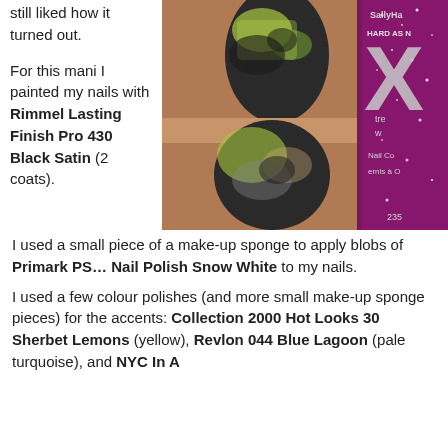still liked how it turned out.

For this mani I painted my nails with Rimmel Lasting Finish Pro 430 Black Satin (2 coats).
[Figure (photo): Close-up photo of nails painted with a dark base and sponged colourful glitter/polish, next to a Sally Hansen Hard As Nails Xtreme Wear Nail Colour bottle (number 235) with purple glitter finish.]
I used a small piece of a make-up sponge to apply blobs of Primark PS... Nail Polish Snow White to my nails.
I used a few colour polishes (and more small make-up sponge pieces) for the accents: Collection 2000 Hot Looks 30 Sherbet Lemons (yellow), Revlon 044 Blue Lagoon (pale turquoise), and NYC In A